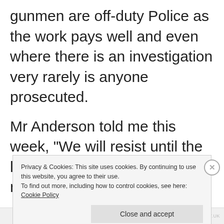gunmen are off-duty Police as the work pays well and even where there is an investigation very rarely is anyone prosecuted.
Mr Anderson told me this week, “We will resist until the last fisherman since we have no
Privacy & Cookies: This site uses cookies. By continuing to use this website, you agree to their use.
To find out more, including how to control cookies, see here: Cookie Policy
Close and accept